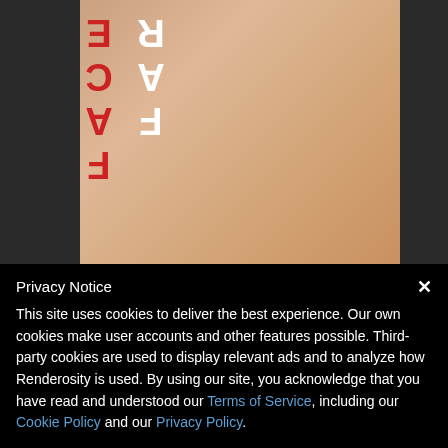[Figure (photo): Close-up photo of a person's neck and chin area with 'FACE' text overlaid in red and white on the left side of the image, against a dark background.]
On Feb 18, 2017
farconville uploaded a new marketplace product Faces 1 for Genesis 3 Male and Michael 7.
Shop farconville's store here.
Privacy Notice
This site uses cookies to deliver the best experience. Our own cookies make user accounts and other features possible. Third-party cookies are used to display relevant ads and to analyze how Renderosity is used. By using our site, you acknowledge that you have read and understood our Terms of Service, including our Cookie Policy and our Privacy Policy.